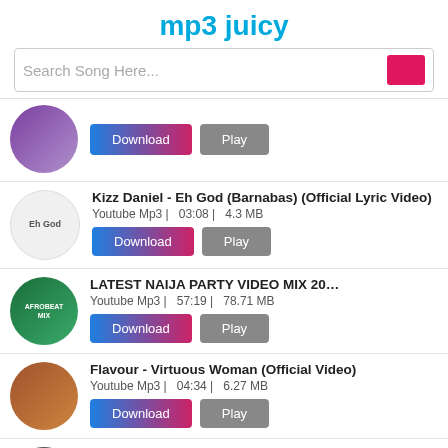mp3 juicy
Search Song Here...
Song item with Download and Play buttons (thumbnail: purple/dark)
Kizz Daniel - Eh God (Barnabas) (Official Lyric Video)
Youtube Mp3 | 03:08 | 4.3 MB
LATEST NAIJA PARTY VIDEO MIX 2022| ZAZZU ZEH V
Youtube Mp3 | 57:19 | 78.71 MB
Flavour - Virtuous Woman (Official Video)
Youtube Mp3 | 04:34 | 6.27 MB
Zlatan - Money feat. Davido (Official Video)
Youtube Mp3 | 02:49 | 3.87 MB